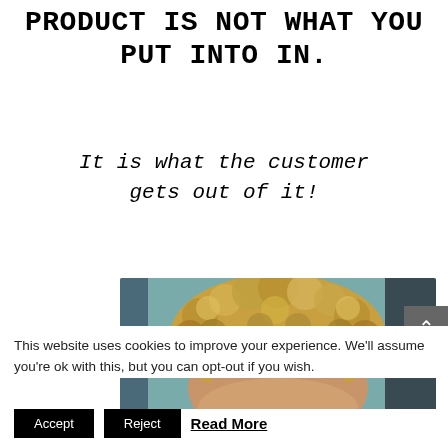PRODUCT IS NOT WHAT YOU PUT INTO IN.
It is what the customer gets out of it!
[Figure (photo): Close-up photo of a person with curly/coily blonde-toned natural hair, top of head visible, blue background with decorative element on left side.]
This website uses cookies to improve your experience. We'll assume you're ok with this, but you can opt-out if you wish.
Accept   Reject   Read More